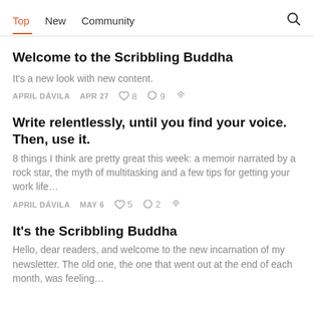Top   New   Community
Welcome to the Scribbling Buddha
It's a new look with new content.
APRIL DÁVILA   APR 27   ♡ 8   ○ 9   ↗
Write relentlessly, until you find your voice. Then, use it.
8 things I think are pretty great this week: a memoir narrated by a rock star, the myth of multitasking and a few tips for getting your work life…
APRIL DÁVILA   MAY 6   ♡ 5   ○ 2   ↗
It's the Scribbling Buddha
Hello, dear readers, and welcome to the new incarnation of my newsletter. The old one, the one that went out at the end of each month, was feeling…